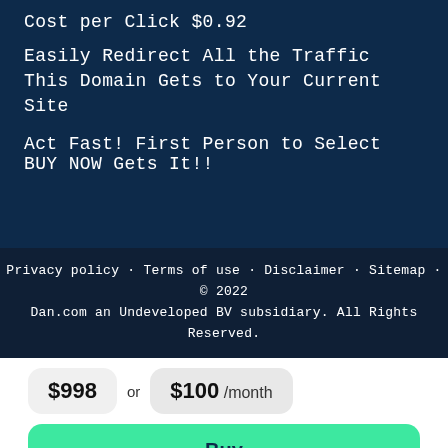Cost per Click $0.92
Easily Redirect All the Traffic This Domain Gets to Your Current Site
Act Fast! First Person to Select BUY NOW Gets It!!
Privacy policy · Terms of use · Disclaimer · Sitemap · © 2022 Dan.com an Undeveloped BV subsidiary. All Rights Reserved.
$998 or $100 /month
Buy